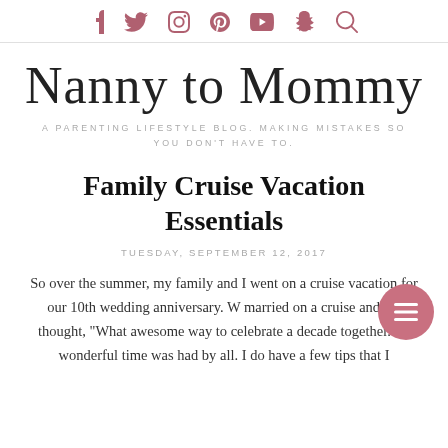Social media icons: Facebook, Twitter, Instagram, Pinterest, YouTube, Snapchat, Search
Nanny to Mommy
A PARENTING LIFESTYLE BLOG. MAKING MISTAKES SO YOU DON'T HAVE TO.
Family Cruise Vacation Essentials
TUESDAY, SEPTEMBER 12, 2017
So over the summer, my family and I went on a cruise vacation for our 10th wedding anniversary. W married on a cruise and we thought, "What awesome way to celebrate a decade together." A wonderful time was had by all. I do have a few tips that I